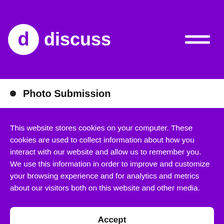[Figure (logo): Discuss logo with purple circular icon containing letter d, and white text 'discuss']
Photo Submission
This website stores cookies on your computer. These cookies are used to collect information about how you interact with our website and allow us to remember you. We use this information in order to improve and customize your browsing experience and for analytics and metrics about our visitors both on this website and other media.
Accept
Read Our Cookie Policy
Cookies Settings